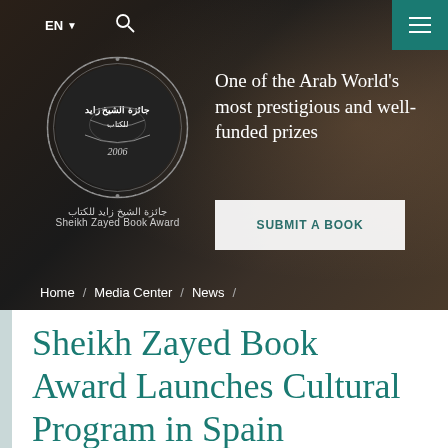EN ▼   🔍
[Figure (logo): Sheikh Zayed Book Award circular calligraphy logo with '2006' at the bottom, Arabic text and English text 'Sheikh Zayed Book Award' below]
One of the Arab World's most prestigious and well-funded prizes
SUBMIT A BOOK
Home / Media Center / News /
Sheikh Zayed Book Award Launches Cultural Program in Spain